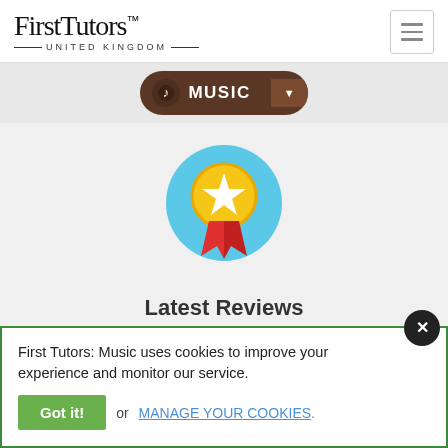[Figure (logo): FirstTutors United Kingdom logo with serif font and horizontal lines]
[Figure (other): Hamburger menu icon button]
[Figure (other): Music navigation pill button with note icon and dropdown arrow]
[Figure (illustration): Award badge/medal with gold circle, white star, and red ribbon on light blue circular background]
Latest Reviews
Trust Score 9.2
First Tutors: Music uses cookies to improve your experience and monitor our service.
Got it! or MANAGE YOUR COOKIES.